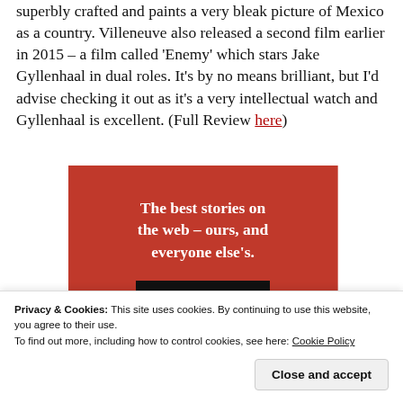superbly crafted and paints a very bleak picture of Mexico as a country. Villeneuve also released a second film earlier in 2015 – a film called 'Enemy' which stars Jake Gyllenhaal in dual roles. It's by no means brilliant, but I'd advise checking it out as it's a very intellectual watch and Gyllenhaal is excellent. (Full Review here)
[Figure (other): Red promotional banner reading 'The best stories on the web – ours, and everyone else's.' with a black 'Start reading' button]
Privacy & Cookies: This site uses cookies. By continuing to use this website, you agree to their use. To find out more, including how to control cookies, see here: Cookie Policy